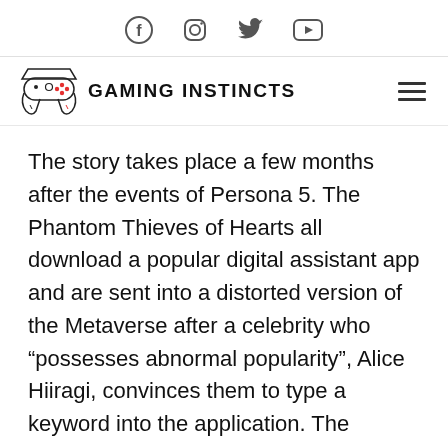Facebook Instagram Twitter YouTube (social icons)
[Figure (logo): Gaming Instincts logo with game controller icon and site name, plus hamburger menu icon]
The story takes place a few months after the events of Persona 5. The Phantom Thieves of Hearts all download a popular digital assistant app and are sent into a distorted version of the Metaverse after a celebrity who “possesses abnormal popularity”, Alice Hiiragi, convinces them to type a keyword into the application. The